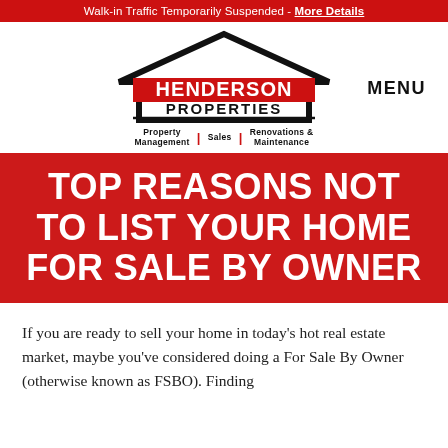Walk-in Traffic Temporarily Suspended - More Details
[Figure (logo): Henderson Properties logo with house outline graphic, red background for HENDERSON text, black PROPERTIES text, tagline: Property Management | Sales | Renovations & Maintenance]
TOP REASONS NOT TO LIST YOUR HOME FOR SALE BY OWNER
If you are ready to sell your home in today's hot real estate market, maybe you've considered doing a For Sale By Owner (otherwise known as FSBO). Finding